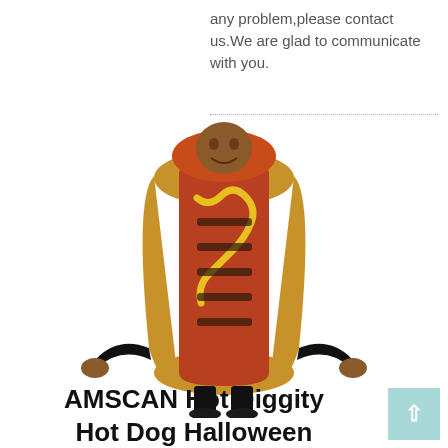any problem,please contact us.We are glad to communicate with you.
[Figure (photo): A man wearing an AMSCAN Hot Diggity Hot Dog Halloween costume — a full-body hot dog in a bun outfit with mustard zigzag design and orange hood, standing with arms out against a white background.]
AMSCAN Hot Diggity Hot Dog Halloween